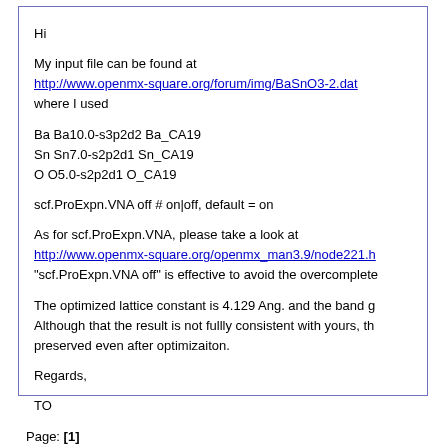Hi
My input file can be found at http://www.openmx-square.org/forum/img/BaSnO3-2.dat where I used
Ba Ba10.0-s3p2d2 Ba_CA19
Sn Sn7.0-s2p2d1 Sn_CA19
O O5.0-s2p2d1 O_CA19
scf.ProExpn.VNA off # on|off, default = on
As for scf.ProExpn.VNA, please take a look at http://www.openmx-square.org/openmx_man3.9/node221.h "scf.ProExpn.VNA off" is effective to avoid the overcomplete
The optimized lattice constant is 4.129 Ang. and the band g Although that the result is not fullly consistent with yours, th preserved even after optimizaiton.
Regards,
TO
Page: [1]